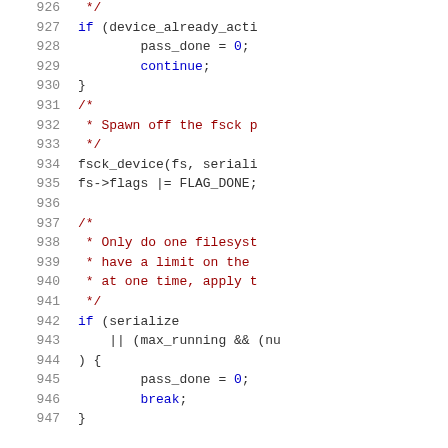Source code listing lines 926-947 showing C code for fsck device handling with comments and control flow
926   */
927   if (device_already_acti
928           pass_done = 0;
929           continue;
930   }
931   /*
932    * Spawn off the fsck p
933    */
934   fsck_device(fs, seriali
935   fs->flags |= FLAG_DONE;
936
937   /*
938    * Only do one filesyst
939    * have a limit on the
940    * at one time, apply t
941    */
942   if (serialize
943       || (max_running && (nu
944   ) {
945           pass_done = 0;
946           break;
947   }